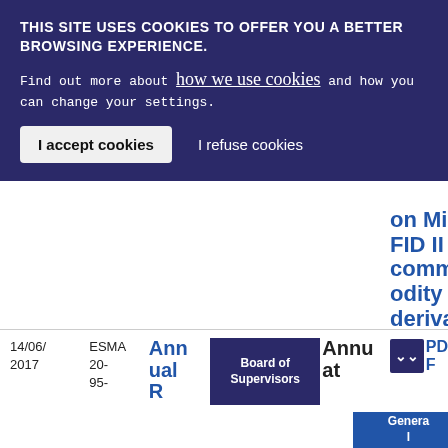THIS SITE USES COOKIES TO OFFER YOU A BETTER BROWSING EXPERIENCE.
Find out more about how we use cookies and how you can change your settings.
I accept cookies  I refuse cookies
on MiFID II commodity derivatives topics
| Date | Reference | Title | Category | Annu al | PDF |
| --- | --- | --- | --- | --- | --- |
| 14/06/ 2017 | ESMA 20- 95- | Ann ual R | Board of Supervisors | Annu at | PDF |